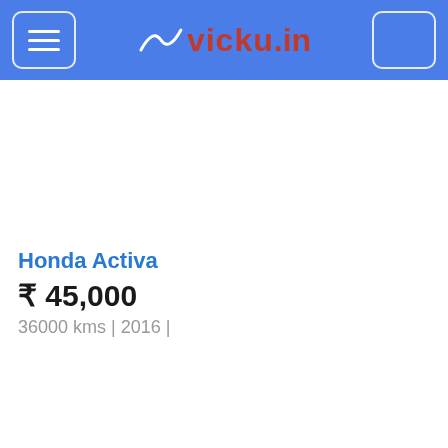vicky.in — navigation header with hamburger menu and search button
[Figure (screenshot): Blank white image area for first Honda Activa listing]
Honda Activa
₹ 45,000
36000 kms | 2016 |
[Figure (screenshot): Blank white image area for second Honda Activa listing]
Honda Activa